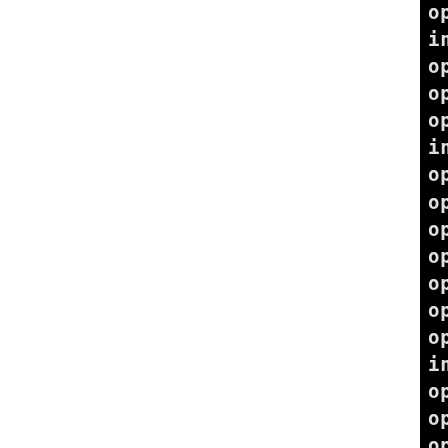openssl_i2d_PKCS8PrivateKey... installing man3/openssl_d2... openssl_d2i_Private_key.3 openssl_d2i_AutoPrivateKey... openssl_i2d_PrivateKey.3 =... installing man3/openssl_d2... openssl_i2d_RSAPublicKey.3... openssl_d2i_RSAPrivateKey... openssl_i2d_RSAPrivateKey... openssl_d2i_RSA_PUBKEY.3 =... openssl_i2d_RSA_PUBKEY.3 =... openssl_i2d_Netscape_RSA.3... openssl_d2i_Netscape_RSA.3... installing man3/openssl_d2... openssl_i2d_X509.3 => ope... openssl_d2i_X509_bio.3 =>... openssl_d2i_X509_fp.3 => ... openssl_i2d_X509_bio.3 =>... openssl_i2d_X509_fp.3 => ... installing man3/openssl_d2... openssl_i2d_X509_ALGOR.3 =... installing man3/openssl_d2... openssl_i2d_X509_CRL.3 =>... openssl_d2i_X509_CRL_bio...